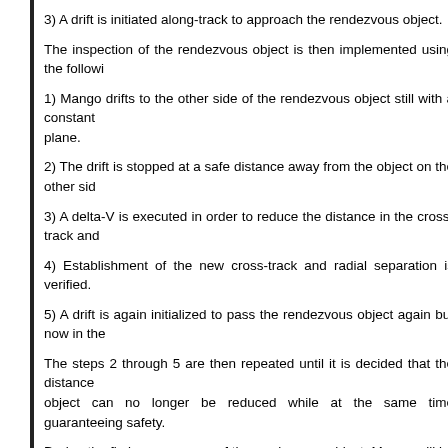3) A drift is initiated along-track to approach the rendezvous object.
The inspection of the rendezvous object is then implemented using the followi...
1) Mango drifts to the other side of the rendezvous object still with a constant plane.
2) The drift is stopped at a safe distance away from the object on the other sid...
3) A delta-V is executed in order to reduce the distance in the cross-track and...
4) Establishment of the new cross-track and radial separation is verified.
5) A drift is again initialized to pass the rendezvous object again but now in the...
The steps 2 through 5 are then repeated until it is decided that the distance object can no longer be reduced while at the same time guaranteeing safety.
During the fly-by maneuvers of the rendezvous object, Mango will be targe... from the VBS allowing for sensor and digital video system image capturing o... be based on time-tagged delta-V maneuvers computed on-ground and upload...
All on-board navigation will be continuously evaluated on-ground against cap... steps of the IRIDES experiment, it will be possible to abort by commanding result in an increasing distance between Mango and the rendezvous object fo...
The proposed strategy will allow for a completely safe close approach betwe... The final minimum relative distance depends on the evaluated achieved Visio... a performance close to what has been achieved during previous PRISM...